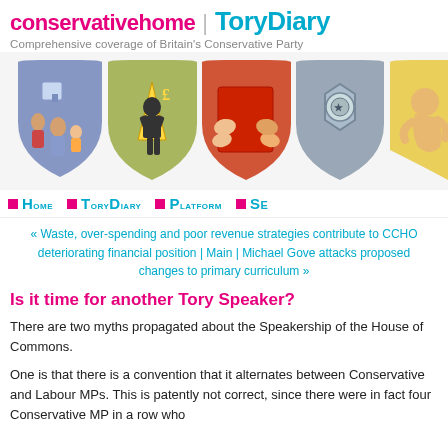conservativehome | ToryDiary — Comprehensive coverage of Britain's Conservative Party
[Figure (illustration): Row of five decorative shield icons representing policy areas: housing/family, construction/economy, education/books, police/law, and healthcare/life]
HOME | TORYDIARY | PLATFORM | SE...
« Waste, over-spending and poor revenue strategies contribute to CCHO deteriorating financial position | Main | Michael Gove attacks proposed changes to primary curriculum »
Is it time for another Tory Speaker?
There are two myths propagated about the Speakership of the House of Commons.
One is that there is a convention that it alternates between Conservative and Labour MPs. This is patently not correct, since there were in fact four Conservative MP in a row who